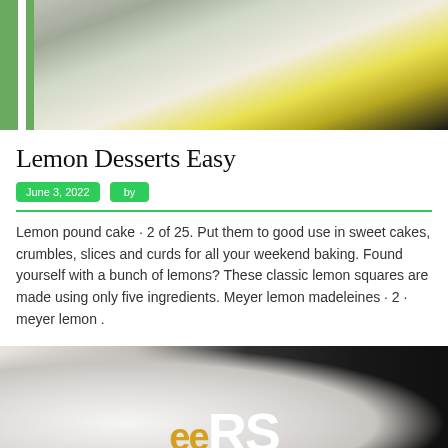[Figure (photo): Top-down photo of a bowl of yellow/lemon dessert being scooped with a black-handled spoon, with a green and white striped cloth in the background on a white wooden surface.]
Lemon Desserts Easy
June 3, 2022   by
Lemon pound cake · 2 of 25. Put them to good use in sweet cakes, crumbles, slices and curds for all your weekend baking. Found yourself with a bunch of lemons? These classic lemon squares are made using only five ingredients. Meyer lemon madeleines · 2 · meyer lemon .
[Figure (photo): Close-up photo of a white ceramic mug on a dark background with large partial text letters visible — golden 'ee' and white 'RS' — suggesting a coffee shop or brand logo.]